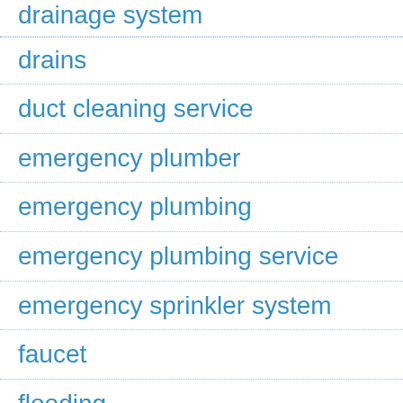drainage system
drains
duct cleaning service
emergency plumber
emergency plumbing
emergency plumbing service
emergency sprinkler system
faucet
flooding
frozen pipes
furnace repair
gas leak